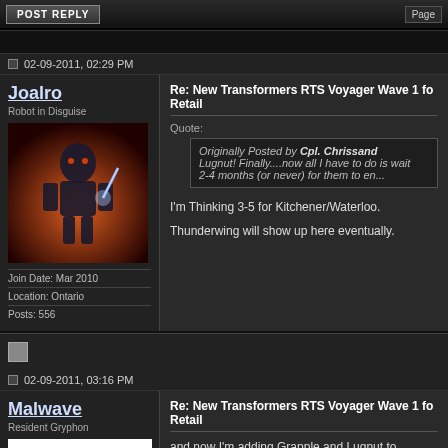POST REPLY | Page
02-09-2011, 02:29 PM
Joalro
Robot in Disguise
Join Date: Mar 2010
Location: Ontario
Posts: 556
Re: New Transformers RTS Voyager Wave 1 for Retail
Quote:
Originally Posted by Cpl. Chrissand
Lugnut! Finally....now all I have to do is wait 2-4 months (or never) for them to en...
I'm Thinking 3-5 for Kitchener/Waterloo.
Thunderwing will show up here eventually.
02-09-2011, 03:16 PM
Malwave
Resident Gryphon
Re: New Transformers RTS Voyager Wave 1 for Retail
and now I'm adding Grapple and Lugnut to "Need to get, But Aren't Out in Retail Yet"